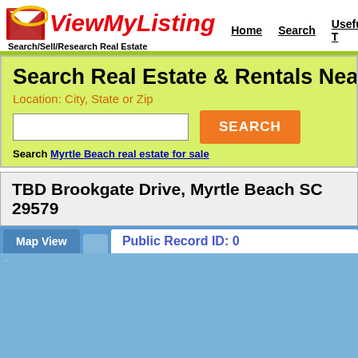[Figure (logo): ViewMyListing logo with red envelope icon and yellow oval, red italic text 'ViewMyListing', tagline 'Search/Sell/Research Real Estate']
Home   Search   Useful T...
Search Real Estate & Rentals Near You
Location: City, State or Zip
Search Myrtle Beach real estate for sale
TBD Brookgate Drive, Myrtle Beach SC 29579
Map View
Public Record ID: 0